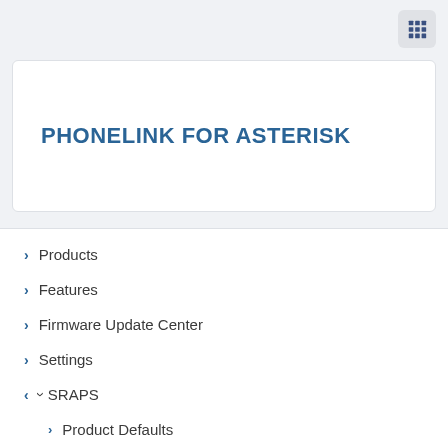PHONELINK FOR ASTERISK
Products
Features
Firmware Update Center
Settings
SRAPS
Product Defaults
File Manager